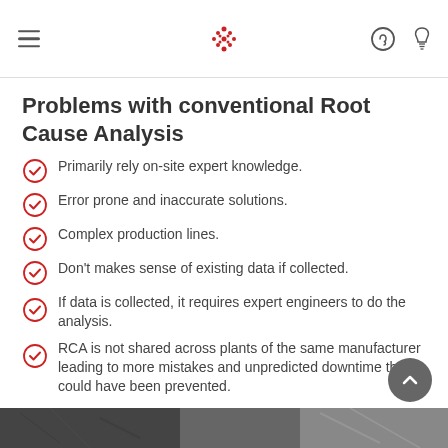Problems with conventional Root Cause Analysis
Primarily rely on-site expert knowledge.
Error prone and inaccurate solutions.
Complex production lines.
Don't makes sense of existing data if collected.
If data is collected, it requires expert engineers to do the analysis.
RCA is not shared across plants of the same manufacturer leading to more mistakes and unpredicted downtime that could have been prevented.
[Figure (photo): Bottom strip showing industrial/engineering photo]